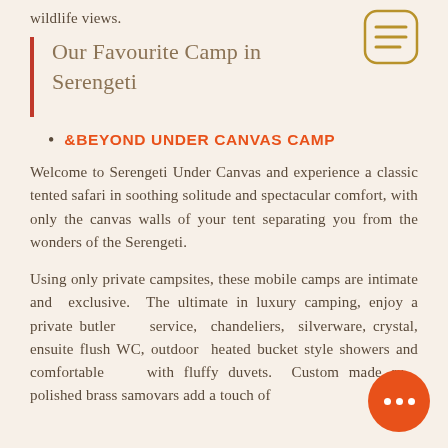wildlife views.
[Figure (illustration): Menu/document icon with three horizontal lines, rounded rectangle border, in dark gold/tan color]
Our Favourite Camp in Serengeti
&BEYOND UNDER CANVAS CAMP
Welcome to Serengeti Under Canvas and experience a classic tented safari in soothing solitude and spectacular comfort, with only the canvas walls of your tent separating you from the wonders of the Serengeti.
Using only private campsites, these mobile camps are intimate and exclusive. The ultimate in luxury camping, enjoy a private butler service, chandeliers, silverware, crystal, ensuite flush WC, outdoor heated bucket style showers and comfortable beds with fluffy duvets. Custom made ru... polished brass samovars add a touch of
[Figure (illustration): Orange circular chat/messaging button with three white dots]